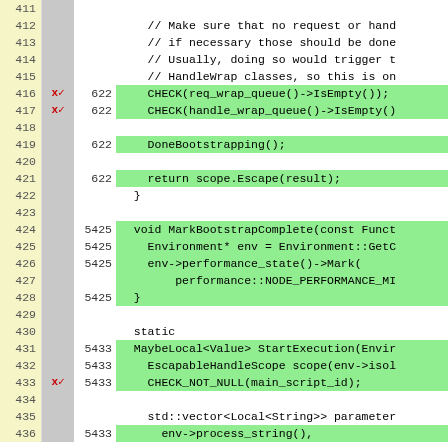[Figure (screenshot): Code coverage viewer showing C++ source lines 411-436 with line numbers, coverage markers (x checkmarks), execution counts, and highlighted code lines. Green highlighting indicates covered lines. Lines include CHECK macros, DoneBootstrapping, return scope.Escape, MarkBootstrapComplete function, and StartExecution function fragments.]